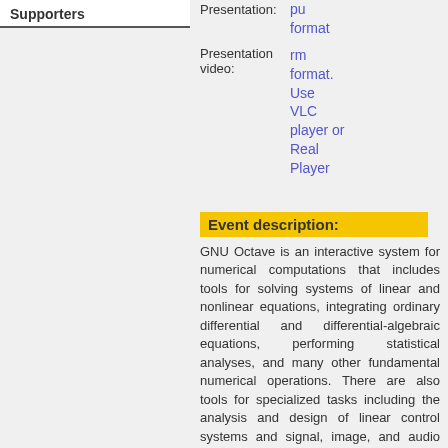Supporters
Presentation:
pu format
rm format. Use VLC player or Real Player
Presentation video:
Event description:
GNU Octave is an interactive system for numerical computations that includes tools for solving systems of linear and nonlinear equations, integrating ordinary differential and differential-algebraic equations, performing statistical analyses, and many other fundamental numerical operations. There are also tools for specialized tasks including the analysis and design of linear control systems and signal, image, and audio processing. Octave has a growing worldwide user base with